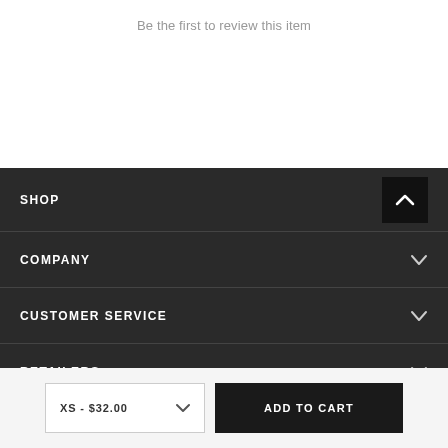Be the first to review this item
SHOP
COMPANY
CUSTOMER SERVICE
RETAILERS
XS - $32.00
ADD TO CART